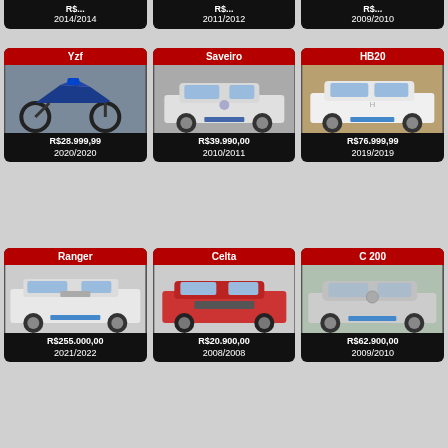[Figure (other): Partial top row of vehicle listing cards showing prices and years: R$…/2014/2014, R$…/2011/2012, R$…/2009/2010]
[Figure (other): Vehicle listing card: Yzf motorcycle, R$28.999,99, 2020/2020]
[Figure (other): Vehicle listing card: Saveiro, R$39.990,00, 2010/2011]
[Figure (other): Vehicle listing card: HB20, R$76.999,99, 2019/2019]
[Figure (other): Vehicle listing card: Ranger, R$255.000,00, 2021/2022]
[Figure (other): Vehicle listing card: Celta, R$20.900,00, 2008/2008]
[Figure (other): Vehicle listing card: C 200, R$62.900,00, 2009/2010]